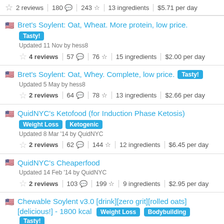2 reviews | 180 | 243 | 13 ingredients | $5.71 per day
Bret's Soylent: Oat, Wheat. More protein, low price. Tasty! Updated 11 Nov by hess8. 4 reviews | 57 | 76 | 15 ingredients | $2.00 per day
Bret's Soylent: Oat, Whey. Complete, low price. Tasty! Updated 5 May by hess8. 2 reviews | 64 | 78 | 13 ingredients | $2.66 per day
QuidNYC's Ketofood (for Induction Phase Ketosis) Weight Loss Ketogenic Updated 8 Mar '14 by QuidNYC. 2 reviews | 62 | 144 | 12 ingredients | $6.45 per day
QuidNYC's Cheaperfood Updated 14 Feb '14 by QuidNYC. 2 reviews | 103 | 199 | 9 ingredients | $2.95 per day
Chewable Soylent v3.0 [drink][zero grit][rolled oats][delicious!] - 1800 kcal Weight Loss Bodybuilding Tasty! Updated 13 May '16 by abemore. 3 reviews | 68 | 134 | 8 ingredients | $2.49 per day